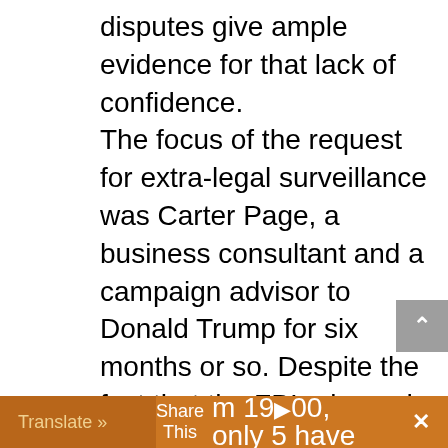disputes give ample evidence for that lack of confidence. The focus of the request for extra-legal surveillance was Carter Page, a business consultant and a campaign advisor to Donald Trump for six months or so. Despite the fact that the FBI released 414 pages, the meat of the case could be carved out in about thirty heavily redacted pages. The rest of the release was redundancies, boiler-plate and blackened copy to add gravitas to an otherwise slight document. No doubt the FBI anticipated that the FISA courts are perceived as push-overs for government agencies; of 22,990 FISA m 19[…]00, only 5 have
Translate »   Share This   ×